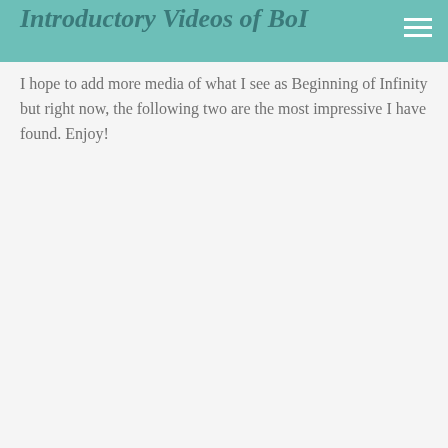Introductory Videos of BoI
I hope to add more media of what I see as Beginning of Infinity but right now, the following two are the most impressive I have found. Enjoy!